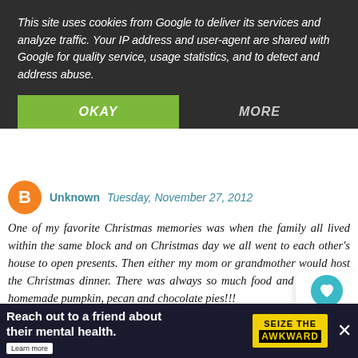This site uses cookies from Google to deliver its services and analyze traffic. Your IP address and user-agent are shared with Google for quality service, usage statistics, and to detect and address abuse.
OKAY
MORE
Unknown   Tuesday, November 27, 2012
One of my favorite Christmas memories was when the family all lived within the same block and on Christmas day we all went to each other's house to open presents. Then either my mom or grandmother would host the Christmas dinner. There was always so much food and the yummy homemade pumpkin, pecan and chocolate pies!!!
Also, I am already a FB and Pinterest fan and I shared your link on FB!
Reply
WHAT'S NEXT → Lemonade
Reach out to a friend about their mental health. Learn more   SEIZE THE AWKWARD